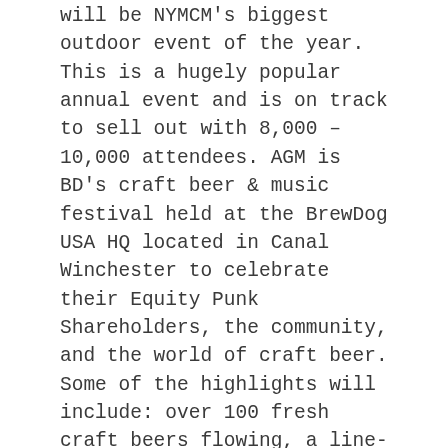will be NYMCM's biggest outdoor event of the year. This is a hugely popular annual event and is on track to sell out with 8,000 – 10,000 attendees. AGM is BD's craft beer & music festival held at the BrewDog USA HQ located in Canal Winchester to celebrate their Equity Punk Shareholders, the community, and the world of craft beer. Some of the highlights will include: over 100 fresh craft beers flowing, a line-up of music to rock your day away, swathes of street food, of course NYMCM's fabulous market and much more. Trust us, this is going to be a festival you won't want to miss. For more information from BD, including line-up announcements, event news, and the latest updates, please visit brewdog.com/agm-2022
The October 2nd Market will take place indoors